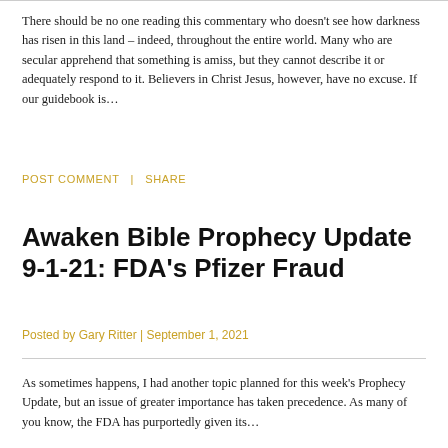There should be no one reading this commentary who doesn't see how darkness has risen in this land – indeed, throughout the entire world. Many who are secular apprehend that something is amiss, but they cannot describe it or adequately respond to it. Believers in Christ Jesus, however, have no excuse. If our guidebook is…
POST COMMENT  |  SHARE
Awaken Bible Prophecy Update 9-1-21: FDA's Pfizer Fraud
Posted by Gary Ritter | September 1, 2021
As sometimes happens, I had another topic planned for this week's Prophecy Update, but an issue of greater importance has taken precedence. As many of you know, the FDA has purportedly given its…